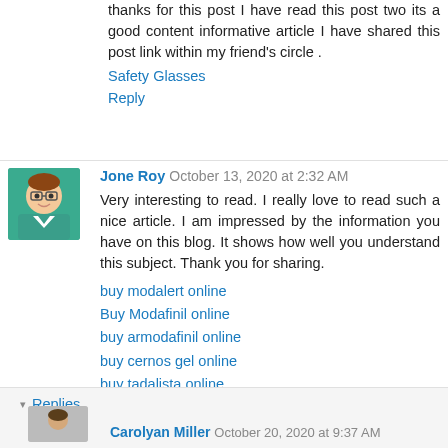thanks for this post I have read this post two its a good content informative article I have shared this post link within my friend's circle .
Safety Glasses
Reply
Jone Roy  October 13, 2020 at 2:32 AM
Very interesting to read. I really love to read such a nice article. I am impressed by the information you have on this blog. It shows how well you understand this subject. Thank you for sharing.
buy modalert online
Buy Modafinil online
buy armodafinil online
buy cernos gel online
buy tadalista online
Reply
▾ Replies
Carolyan Miller  October 20, 2020 at 9:37 AM